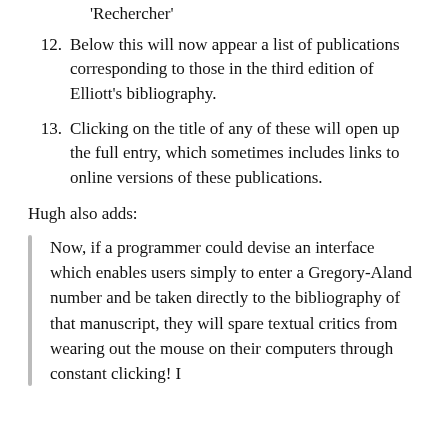'Rechercher'
12. Below this will now appear a list of publications corresponding to those in the third edition of Elliott's bibliography.
13. Clicking on the title of any of these will open up the full entry, which sometimes includes links to online versions of these publications.
Hugh also adds:
Now, if a programmer could devise an interface which enables users simply to enter a Gregory-Aland number and be taken directly to the bibliography of that manuscript, they will spare textual critics from wearing out the mouse on their computers through constant clicking! I